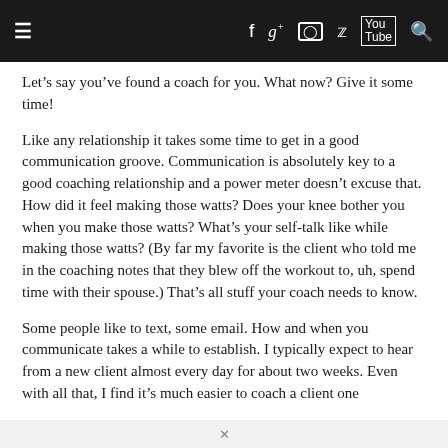≡  f  g+  ◎  🐦  YouTube  🔍
Let's say you've found a coach for you. What now? Give it some time!
Like any relationship it takes some time to get in a good communication groove. Communication is absolutely key to a good coaching relationship and a power meter doesn't excuse that. How did it feel making those watts? Does your knee bother you when you make those watts? What's your self-talk like while making those watts? (By far my favorite is the client who told me in the coaching notes that they blew off the workout to, uh, spend time with their spouse.) That's all stuff your coach needs to know.
Some people like to text, some email. How and when you communicate takes a while to establish. I typically expect to hear from a new client almost every day for about two weeks. Even with all that, I find it's much easier to coach a client one